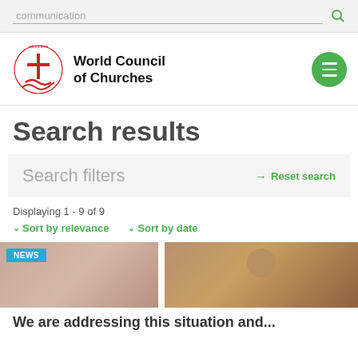communication [search bar]
[Figure (logo): World Council of Churches logo with oikoumene text and cross/wave symbol in red]
Search results
Search filters   → Reset search
Displaying 1 - 9 of 9
↓ Sort by relevance   ↓ Sort by date
[Figure (photo): Two photos side by side: left shows a blurred person photo with NEWS badge, right shows a man's face photo]
We are addressing this situation and...